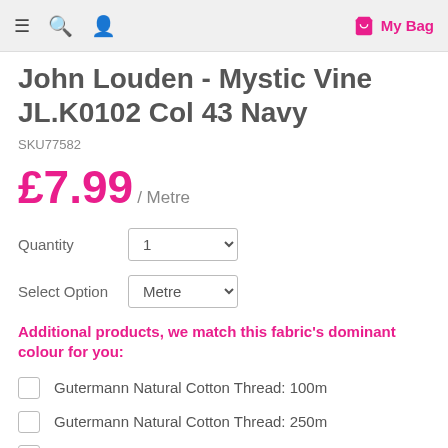≡  🔍  👤   My Bag
John Louden - Mystic Vine JL.K0102 Col 43 Navy
SKU77582
£7.99 / Metre
Quantity  1
Select Option  Metre
Additional products, we match this fabric's dominant colour for you:
Gutermann Natural Cotton Thread: 100m
Gutermann Natural Cotton Thread: 250m
Makower Spraytime 1/2 Metre